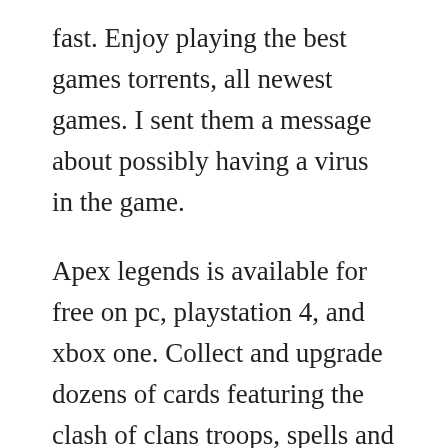fast. Enjoy playing the best games torrents, all newest games. I sent them a message about possibly having a virus in the game.
Apex legends is available for free on pc, playstation 4, and xbox one. Collect and upgrade dozens of cards featuring the clash of clans troops, spells and defenses you know and love, as well as the royales. If you are the owner for this file, please report abuse to 4shared. This code will be stored on your games library on amazon if. In battle royale, we see a society of bebylon, created by adults